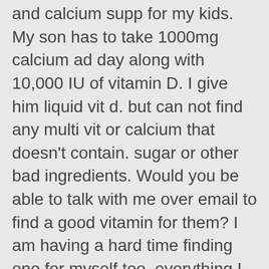I have been on the hunt for a good multi vitamin and calcium supp for my kids. My son has to take 1000mg calcium ad day along with 10,000 IU of vitamin D. I give him liquid vit d. but can not find any multi vit or calcium that doesn't contain. sugar or other bad ingredients. Would you be able to talk with me over email to find a good vitamin for them? I am having a hard time finding one for myself too. everything I look at seems to have soy. by the way just got done with 45 days Whole30, taking a family vacation then the whole fam is jumping on board for another one. I am so excited to see the amazing results the kids will find within themsleves just like I did. Thank you for changing my life :)